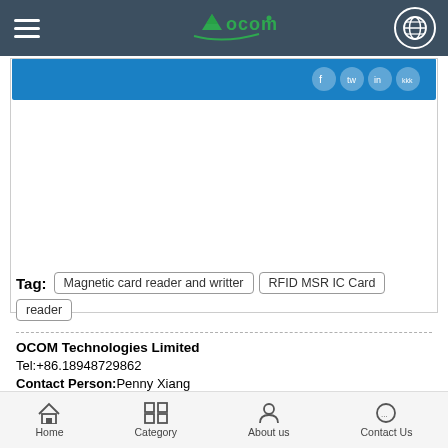OCOM - navigation header with logo and globe icon
[Figure (screenshot): Blue product banner strip with social media icons on right]
Tag: Magnetic card reader and writter | RFID MSR IC Card reader
OCOM Technologies Limited
Tel:+86.18948729862
Contact Person: Penny Xiang
[Figure (photo): Social media/contact icons: user icon, green phone icon, QQ penguin icon, email icon]
[Figure (photo): Profile photo of Penny Xiang, a young Asian woman with dark hair]
Home | Category | About us | Contact Us